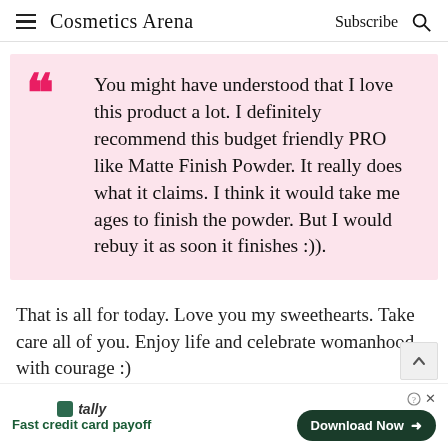Cosmetics Arena  Subscribe
You might have understood that I love this product a lot. I definitely recommend this budget friendly PRO like Matte Finish Powder. It really does what it claims. I think it would take me ages to finish the powder. But I would rebuy it as soon it finishes :)).
That is all for today. Love you my sweethearts. Take care all of you. Enjoy life and celebrate womanhood with courage :)
[Figure (other): Advertisement banner: Tally app - Fast credit card payoff, Download Now button]